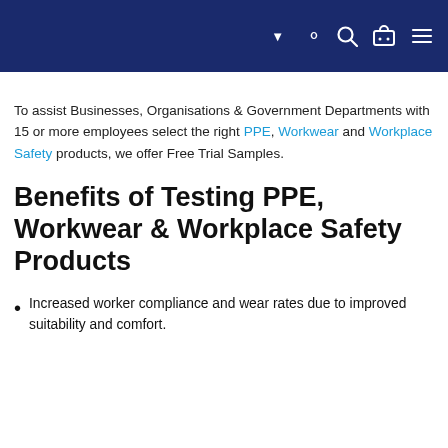Navigation bar with search, cart, and menu icons
To assist Businesses, Organisations & Government Departments with 15 or more employees select the right PPE, Workwear and Workplace Safety products, we offer Free Trial Samples.
Benefits of Testing PPE, Workwear & Workplace Safety Products
Increased worker compliance and wear rates due to improved suitability and comfort.